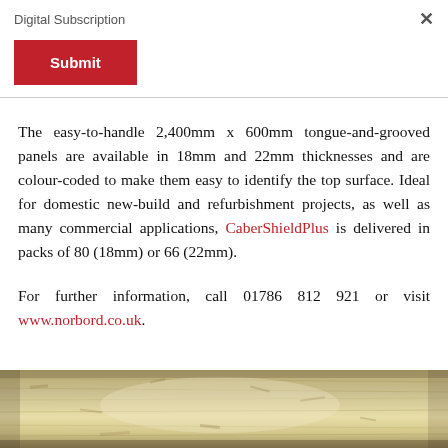Digital Subscription
The easy-to-handle 2,400mm x 600mm tongue-and-grooved panels are available in 18mm and 22mm thicknesses and are colour-coded to make them easy to identify the top surface. Ideal for domestic new-build and refurbishment projects, as well as many commercial applications, CaberShieldPlus is delivered in packs of 80 (18mm) or 66 (22mm).
For further information, call 01786 812 921 or visit www.norbord.co.uk.
[Figure (photo): Close-up photo of a wood-based panel board surface showing the texture and grain of the material]